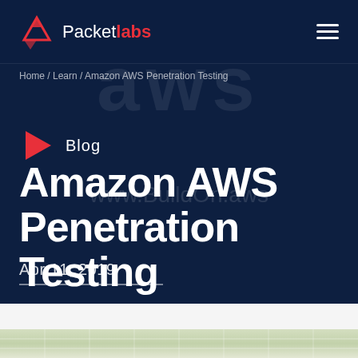Packet labs
Home / Learn / Amazon AWS Penetration Testing
Blog
Amazon AWS Penetration Testing
Apr 11, 2019